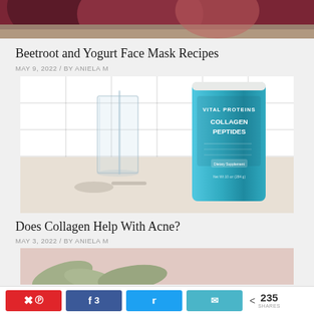[Figure (photo): Top of a photo showing beetroot/figs with a dark reddish-purple background, partially cropped]
Beetroot and Yogurt Face Mask Recipes
MAY 9, 2022 / BY ANIELA M
[Figure (photo): Photo of Vital Proteins Collagen Peptides product in a teal/blue canister next to a glass of water and a spoon, on a white tile background]
Does Collagen Help With Acne?
MAY 3, 2022 / BY ANIELA M
[Figure (photo): Partially visible photo showing aloe vera or green plant pieces on a pink/rose surface]
< 235 SHARES  [Pinterest] [Facebook 3] [Twitter] [Email]